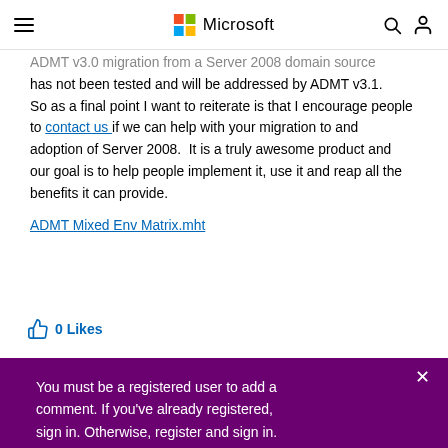Microsoft
ADMT v3.0 migration from a Server 2008 domain source has not been tested and will be addressed by ADMT v3.1. So as a final point I want to reiterate is that I encourage people to contact us if we can help with your migration to and adoption of Server 2008.  It is a truly awesome product and our goal is to help people implement it, use it and reap all the benefits it can provide.
ADMT Mixed Env Matrix.mht
0 Likes
You must be a registered user to add a comment. If you've already registered, sign in. Otherwise, register and sign in.
Comment